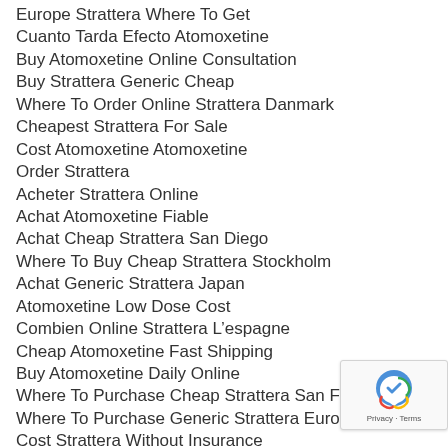Europe Strattera Where To Get
Cuanto Tarda Efecto Atomoxetine
Buy Atomoxetine Online Consultation
Buy Strattera Generic Cheap
Where To Order Online Strattera Danmark
Cheapest Strattera For Sale
Cost Atomoxetine Atomoxetine
Order Strattera
Acheter Strattera Online
Achat Atomoxetine Fiable
Achat Cheap Strattera San Diego
Where To Buy Cheap Strattera Stockholm
Achat Generic Strattera Japan
Atomoxetine Low Dose Cost
Combien Online Strattera L’espagne
Cheap Atomoxetine Fast Shipping
Buy Atomoxetine Daily Online
Where To Purchase Cheap Strattera San Francisco
Where To Purchase Generic Strattera Europe
Cost Strattera Without Insurance